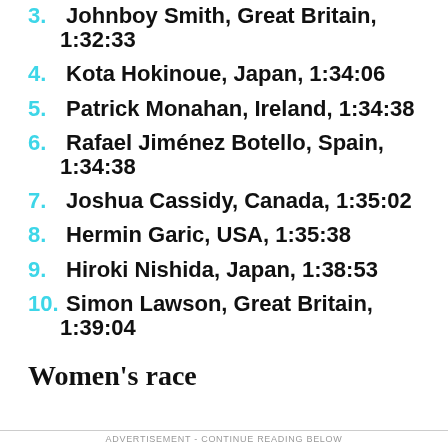3. Johnboy Smith, Great Britain, 1:32:33
4. Kota Hokinoue, Japan, 1:34:06
5. Patrick Monahan, Ireland, 1:34:38
6. Rafael Jiménez Botello, Spain, 1:34:38
7. Joshua Cassidy, Canada, 1:35:02
8. Hermin Garic, USA, 1:35:38
9. Hiroki Nishida, Japan, 1:38:53
10. Simon Lawson, Great Britain, 1:39:04
Women's race
ADVERTISEMENT - CONTINUE READING BELOW